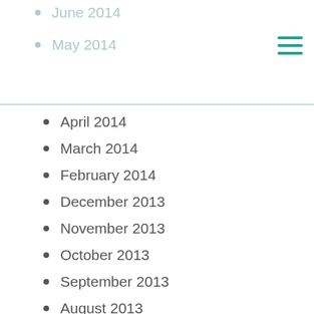June 2014
May 2014
April 2014
March 2014
February 2014
December 2013
November 2013
October 2013
September 2013
August 2013
July 2013
August 2011
July 2011